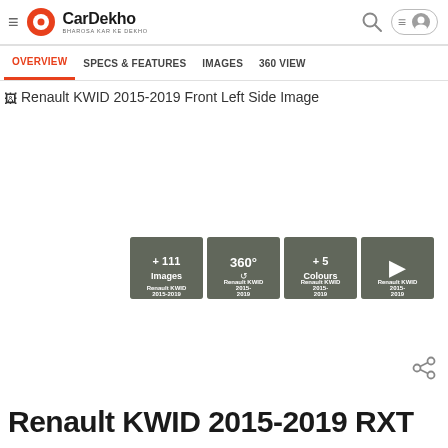[Figure (logo): CarDekho logo with orange circular icon and text 'CarDekho BHAROSA KAR KE DEKHO']
OVERVIEW | SPECS & FEATURES | IMAGES | 360 VIEW
[Figure (photo): Renault KWID 2015-2019 Front Left Side Image (broken image placeholder with alt text)]
[Figure (photo): Thumbnail grid: +111 Images, 360° view, +5 Colours, Video play button - all showing Renault KWID 2015-2019]
Renault KWID 2015-2019 RXT